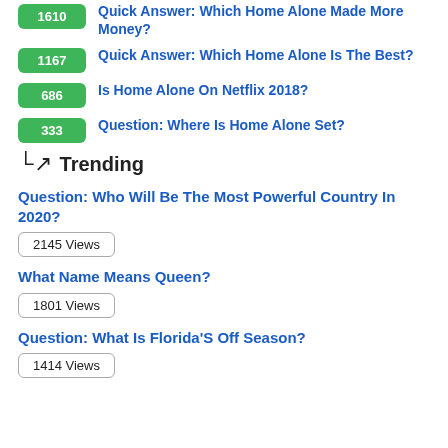1610 Quick Answer: Which Home Alone Made More Money?
1167 Quick Answer: Which Home Alone Is The Best?
686 Is Home Alone On Netflix 2018?
333 Question: Where Is Home Alone Set?
Trending
Question: Who Will Be The Most Powerful Country In 2020? 2145 Views
What Name Means Queen? 1801 Views
Question: What Is Florida'S Off Season? 1414 Views